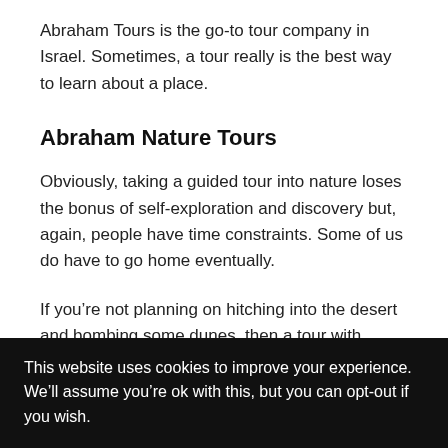Abraham Tours is the go-to tour company in Israel. Sometimes, a tour really is the best way to learn about a place.
Abraham Nature Tours
Obviously, taking a guided tour into nature loses the bonus of self-exploration and discovery but, again, people have time constraints. Some of us do have to go home eventually.
If you’re not planning on hitching into the desert and bombing some dunes, then a tour with Abraham is a stellar Plan B! Check out the site because there are a good load of
This website uses cookies to improve your experience. We’ll assume you’re ok with this, but you can opt-out if you wish.